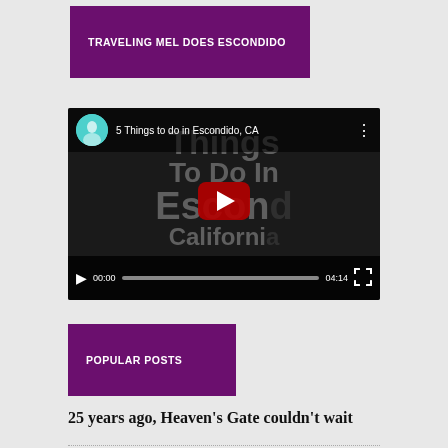TRAVELING MEL DOES ESCONDIDO
[Figure (screenshot): YouTube video embed showing '5 Things to do in Escondido, CA' with video controls showing 00:00 / 04:14]
POPULAR POSTS
25 years ago, Heaven's Gate couldn't wait